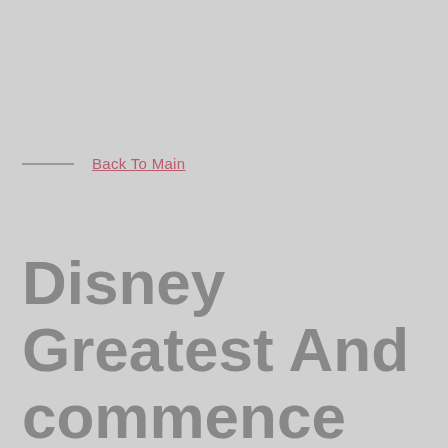— Back To Main
Disney Greatest And commence Most scottish chip shop batter recipe detrimental Dining